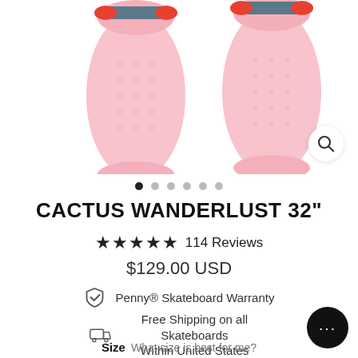[Figure (photo): Two pink Penny skateboards shown from above, with teal/grey trucks and red wheels, partially cropped at top of page]
[Figure (other): Horizontal row of 6 carousel indicator dots; first dot is filled/dark, remaining 5 are light grey]
CACTUS WANDERLUST 32"
★★★★★ 114 Reviews
$129.00 USD
Penny® Skateboard Warranty
Free Shipping on all Skateboards
Within United States
Size  What size is best for me?
[Figure (photo): Row of 5 small pink skateboard thumbnails for size selection; the 4th thumbnail is selected (bold border)]